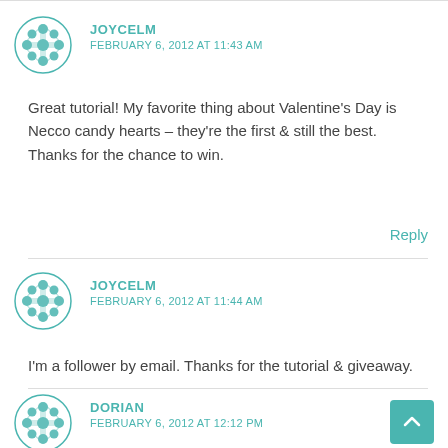JOYCELM
FEBRUARY 6, 2012 AT 11:43 AM
Great tutorial! My favorite thing about Valentine's Day is Necco candy hearts – they're the first & still the best. Thanks for the chance to win.
Reply
JOYCELM
FEBRUARY 6, 2012 AT 11:44 AM
I'm a follower by email. Thanks for the tutorial & giveaway.
Reply
DORIAN
FEBRUARY 6, 2012 AT 12:12 PM